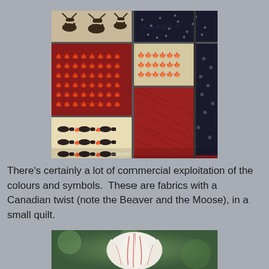[Figure (photo): A patchwork quilt made from Canadian-themed fabrics in red, white, and navy/black. Fabrics feature maple leaf patterns, moose silhouettes, beaver silhouettes, and solid red and dark textured panels.]
There's certainly a lot of commercial exploitation of the colours and symbols.  These are fabrics with a Canadian twist (note the Beaver and the Moose), in a small quilt.
[Figure (photo): Close-up photo of a white and red streaked tulip flower against a blurred green background.]